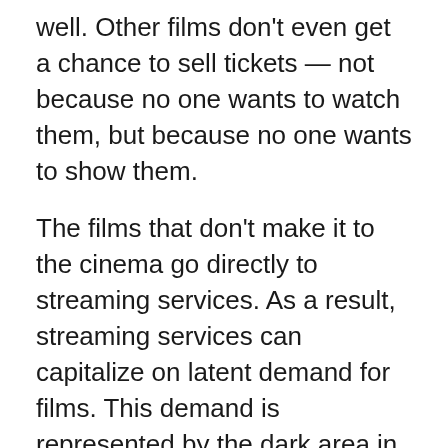well. Other films don't even get a chance to sell tickets — not because no one wants to watch them, but because no one wants to show them.
The films that don't make it to the cinema go directly to streaming services. As a result, streaming services can capitalize on latent demand for films. This demand is represented by the dark area in the chart above.
Streaming did not kill traditional media companies. It gave them a new way to monetize their films, especially older ones. Disney, for example, is ploughing plenty of old material into its new streaming service. Netflix, HBO, and Amazon Prime also feature plenty of classic films